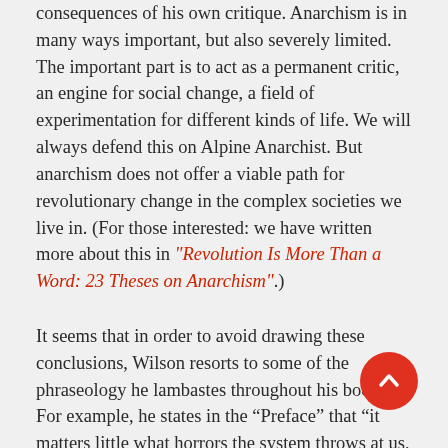consequences of his own critique. Anarchism is in many ways important, but also severely limited. The important part is to act as a permanent critic, an engine for social change, a field of experimentation for different kinds of life. We will always defend this on Alpine Anarchist. But anarchism does not offer a viable path for revolutionary change in the complex societies we live in. (For those interested: we have written more about this in "Revolution Is More Than a Word: 23 Theses on Anarchism".)
It seems that in order to avoid drawing these conclusions, Wilson resorts to some of the phraseology he lambastes throughout his book. For example, he states in the “Preface” that “it matters little what horrors the system throws at us, as long as we are left without an alternative”, and that “at present, anarchism is not giving people the confidence to believe it can offer that” (p. xiv). But how can you ever give anyone that confidence when, in the context of sketching alternatives, “we simply need to accept that they do not provide anything like a